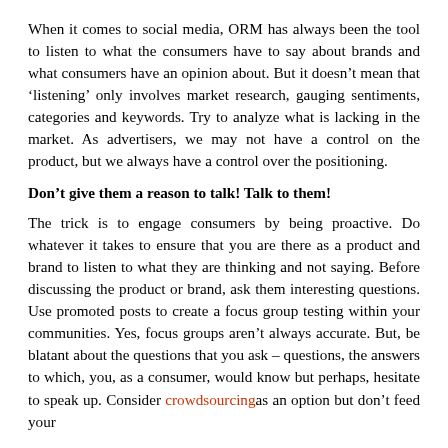When it comes to social media, ORM has always been the tool to listen to what the consumers have to say about brands and what consumers have an opinion about. But it doesn't mean that 'listening' only involves market research, gauging sentiments, categories and keywords. Try to analyze what is lacking in the market. As advertisers, we may not have a control on the product, but we always have a control over the positioning.
Don't give them a reason to talk! Talk to them!
The trick is to engage consumers by being proactive. Do whatever it takes to ensure that you are there as a product and brand to listen to what they are thinking and not saying. Before discussing the product or brand, ask them interesting questions. Use promoted posts to create a focus group testing within your communities. Yes, focus groups aren't always accurate. But, be blatant about the questions that you ask – questions, the answers to which, you, as a consumer, would know but perhaps, hesitate to speak up. Consider crowdsourcingas an option but don't feed your